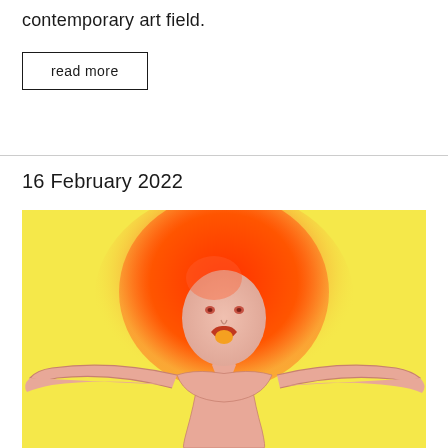contemporary art field.
read more
16 February 2022
[Figure (illustration): A stylized illustration of a figure with bright red-orange hair spread wide, arms outstretched, on a yellow background. The figure has a pale peach skin tone, open mouth with an orange/yellow shape inside, and expressive facial features. The style is flat and painterly.]